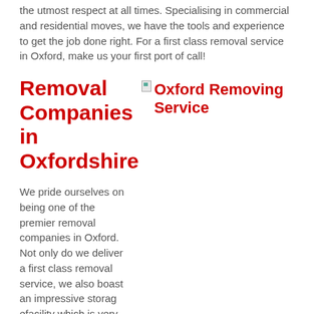the utmost respect at all times. Specialising in commercial and residential moves, we have the tools and experience to get the job done right. For a first class removal service in Oxford, make us your first port of call!
Removal Companies in Oxfordshire
[Figure (photo): Broken image placeholder labeled 'Oxford Removing Service']
We pride ourselves on being one of the premier removal companies in Oxford. Not only do we deliver a first class removal service, we also boast an impressive storag efacility which is very popular with students. Whether you need long or short-termstorage, we can accommodate all needs. With small, large